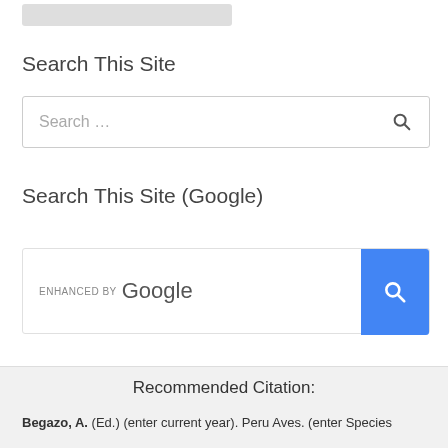[Figure (other): Blurred/redacted image at top]
Search This Site
[Figure (other): Search input box with placeholder text 'Search ...' and magnifier icon]
Search This Site (Google)
[Figure (other): Google enhanced search bar with 'ENHANCED BY Google' label and blue search button]
Recommended Citation:
Begazo, A. (Ed.) (enter current year). Peru Aves. (enter Species